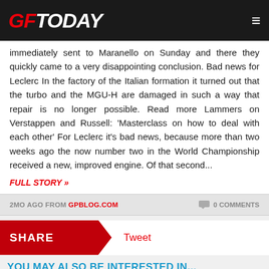GFToday
immediately sent to Maranello on Sunday and there they quickly came to a very disappointing conclusion. Bad news for Leclerc In the factory of the Italian formation it turned out that the turbo and the MGU-H are damaged in such a way that repair is no longer possible. Read more Lammers on Verstappen and Russell: 'Masterclass on how to deal with each other' For Leclerc it's bad news, because more than two weeks ago the now number two in the World Championship received a new, improved engine. Of that second...
FULL STORY »
2MO AGO FROM GPBLOG.COM
0 COMMENTS
SHARE   Tweet
YOU MAY ALSO BE INTERESTED IN...
[Figure (screenshot): GFToday logo thumbnail with 435 views badge]
[Figure (screenshot): GFToday logo thumbnail with 229 views badge]